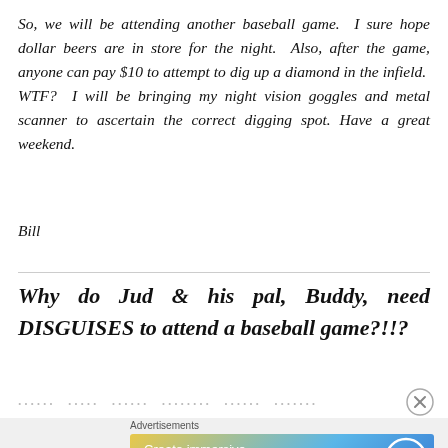So, we will be attending another baseball game.  I sure hope dollar beers are in store for the night.  Also, after the game, anyone can pay $10 to attempt to dig up a diamond in the infield.  WTF?  I will be bringing my night vision goggles and metal scanner to ascertain the correct digging spot. Have a great weekend.
Bill
Why do Jud & his pal, Buddy, need DISGUISES to attend a baseball game?!!?
[Figure (screenshot): Advertisement banner: 'Create immersive stories. GET THE APP' with WordPress logo on blue/yellow gradient background]